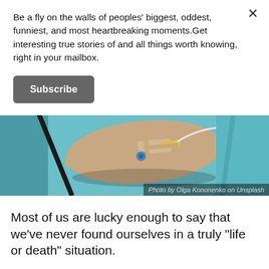Be a fly on the walls of peoples' biggest, oddest, funniest, and most heartbreaking moments.Get interesting true stories of and all things worth knowing, right in your mailbox.
Subscribe
[Figure (photo): Close-up photo of a person's hand with an IV cannula inserted and secured with medical tape, resting on a teal/light blue hospital gown or sheet. Photo credit: Photo by Olga Kononenko on Unsplash]
Photo by Olga Kononenko on Unsplash
Most of us are lucky enough to say that we've never found ourselves in a truly "life or death" situation.
While almost everyone has had a turbulent flight, dangerous experiences on the road, or